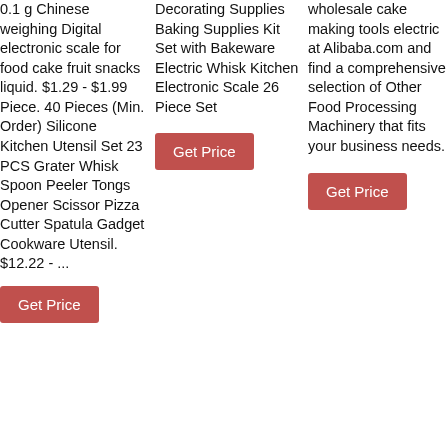0.1 g Chinese weighing Digital electronic scale for food cake fruit snacks liquid. $1.29 - $1.99 Piece. 40 Pieces (Min. Order) Silicone Kitchen Utensil Set 23 PCS Grater Whisk Spoon Peeler Tongs Opener Scissor Pizza Cutter Spatula Gadget Cookware Utensil. $12.22 - ...
Get Price
Decorating Supplies Baking Supplies Kit Set with Bakeware Electric Whisk Kitchen Electronic Scale 26 Piece Set
Get Price
wholesale cake making tools electric at Alibaba.com and find a comprehensive selection of Other Food Processing Machinery that fits your business needs.
Get Price